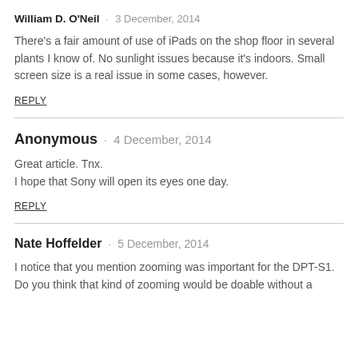William D. O'Neil · 3 December, 2014
There's a fair amount of use of iPads on the shop floor in several plants I know of. No sunlight issues because it's indoors. Small screen size is a real issue in some cases, however.
REPLY
Anonymous · 4 December, 2014
Great article. Tnx.
I hope that Sony will open its eyes one day.
REPLY
Nate Hoffelder · 5 December, 2014
I notice that you mention zooming was important for the DPT-S1. Do you think that kind of zooming would be doable without a